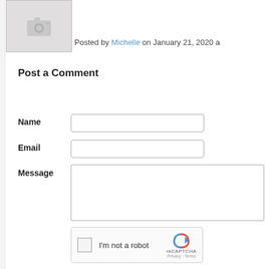[Figure (photo): Placeholder image with camera icon, light gray background with border]
Posted by Michelle on January 21, 2020 a
Post a Comment
Name
Email
Message
[Figure (other): reCAPTCHA widget with checkbox 'I'm not a robot' and reCAPTCHA logo, Privacy · Terms]